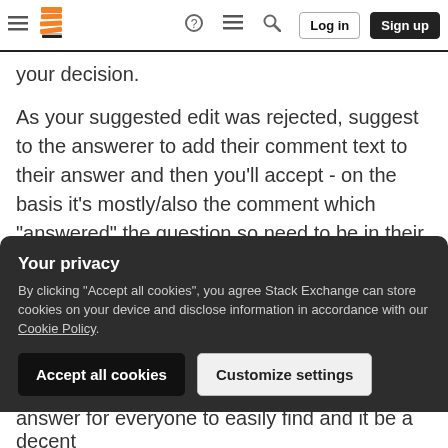Stack Exchange navigation bar with hamburger menu, logo, help, chat, search, Log in, Sign up
your decision.
As your suggested edit was rejected, suggest to the answerer to add their comment text to their answer and then you'll accept - on the basis it's mostly/also the comment which "answered" the question so need to be in their "answer".
If the answerer doesn't move the comment text to their answer, in 10 hours, a day, whatever you feel is appropriate, then feel free to take the text and make a new answer of your own.
Your privacy
By clicking "Accept all cookies", you agree Stack Exchange can store cookies on your device and disclose information in accordance with our Cookie Policy.
Accept all cookies   Customize settings
answer for everyone to easily find and it be a decent